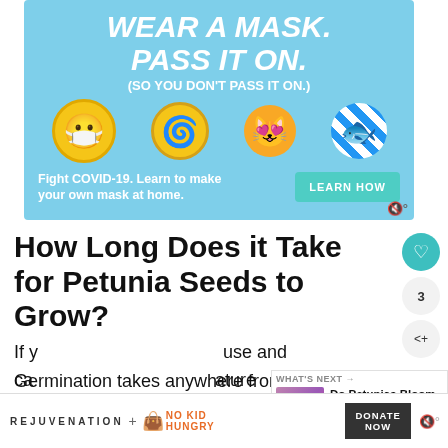[Figure (illustration): COVID-19 public health advertisement with light blue background. Large white bold italic text reads WEAR A MASK. PASS IT ON. (SO YOU DON'T PASS IT ON.) Various emoji-style masked faces arranged around the text. Bottom section reads Fight COVID-19. Learn to make your own mask at home. with a LEARN HOW button.]
How Long Does it Take for Petunia Seeds to Grow?
Germination takes anywhere from 5 to 15 days for petunias that start indoors at average room temperature, which is 68 to 72 degrees Fahrenheit.
[Figure (photo): What's Next thumbnail showing pink petunia flowers with text Do Petunias Bloom All...]
[Figure (logo): Bottom advertisement: REJUVENATION + NO KID HUNGRY logos with DONATE NOW button]